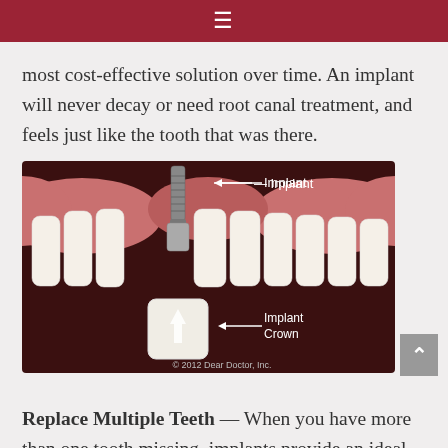≡
most cost-effective solution over time. An implant will never decay or need root canal treatment, and feels just like the tooth that was there.
[Figure (illustration): Dental diagram showing a dental implant inserted into the gum with white teeth on either side. A screw-shaped implant is labeled 'Implant' at the top with an arrow. Below the gum line, a white crown with an upward arrow is labeled 'Implant Crown'. Copyright notice reads '© 2012 Dear Doctor, Inc.']
Replace Multiple Teeth — When you have more than one tooth missing, implants provide an ideal replacement mechanism. You don't even need